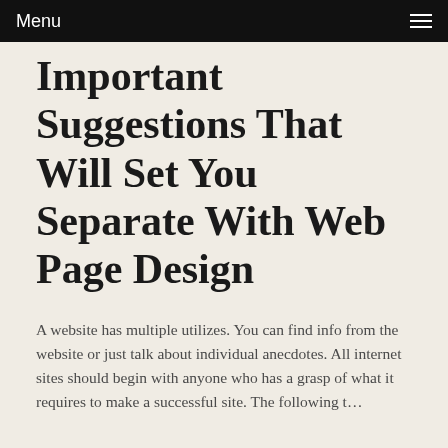Menu
Important Suggestions That Will Set You Separate With Web Page Design
A website has multiple utilizes. You can find info from the website or just talk about individual anecdotes. All internet sites should begin with anyone who has a grasp of what it requires to make a successful site. The following t…
Read more